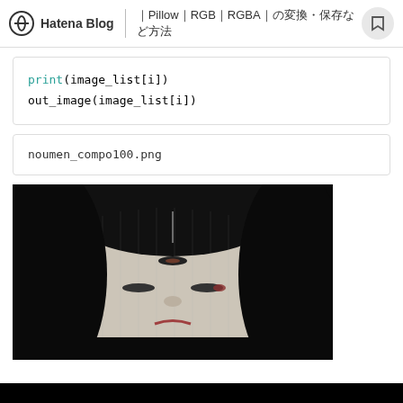Hatena Blog | PillowRGBRGBA
print(image_list[i])
out_image(image_list[i])
noumen_compo100.png
[Figure (photo): A dark photograph of a Japanese Noh theater mask (noumen) with a pale face, thin eyes, and dark background. The mask shows detailed facial features including a small nose pin at top, narrow eyes with reddish inner corners, and is photographed from a slightly overhead angle.]